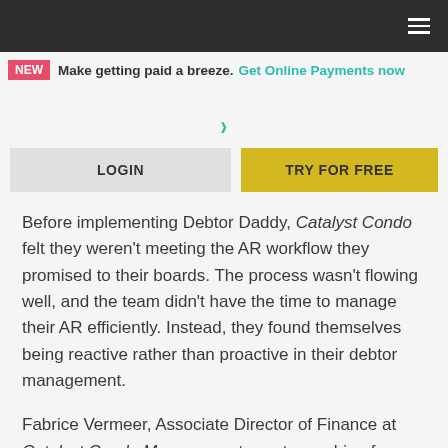≡
NEW  Make getting paid a breeze. Get Online Payments now
[Figure (other): Teal right-pointing chevron arrow]
LOGIN   TRY FOR FREE
Before implementing Debtor Daddy, Catalyst Condo felt they weren't meeting the AR workflow they promised to their boards. The process wasn't flowing well, and the team didn't have the time to manage their AR efficiently. Instead, they found themselves being reactive rather than proactive in their debtor management.
Fabrice Vermeer, Associate Director of Finance at Catalyst Condo Management, went searching for a solution and found Debtor Daddy. Fabrice was